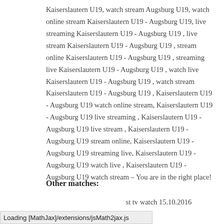Kaiserslautern U19, watch stream Augsburg U19, watch online stream Kaiserslautern U19 - Augsburg U19, live streaming Kaiserslautern U19 - Augsburg U19 , live stream Kaiserslautern U19 - Augsburg U19 , stream online Kaiserslautern U19 - Augsburg U19 , streaming live Kaiserslautern U19 - Augsburg U19 , watch live Kaiserslautern U19 - Augsburg U19 , watch stream Kaiserslautern U19 - Augsburg U19 , Kaiserslautern U19 - Augsburg U19 watch online stream, Kaiserslautern U19 - Augsburg U19 live streaming , Kaiserslautern U19 - Augsburg U19 live stream , Kaiserslautern U19 - Augsburg U19 stream online, Kaiserslautern U19 - Augsburg U19 streaming live, Kaiserslautern U19 - Augsburg U19 watch live , Kaiserslautern U19 - Augsburg U19 watch stream – You are in the right place!
Other matches:
st tv watch 15.10.2016
Loading [MathJax]/extensions/jsMath2jax.js